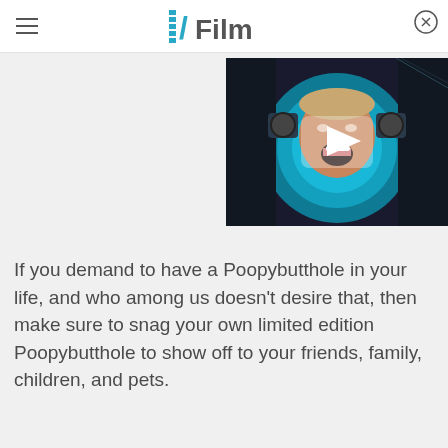/Film
[Figure (screenshot): Video thumbnail showing a man in a sci-fi scene with a play button overlay]
If you demand to have a Poopybutthole in your life, and who among us doesn't desire that, then make sure to snag your own limited edition Poopybutthole to show off to your friends, family, children, and pets.